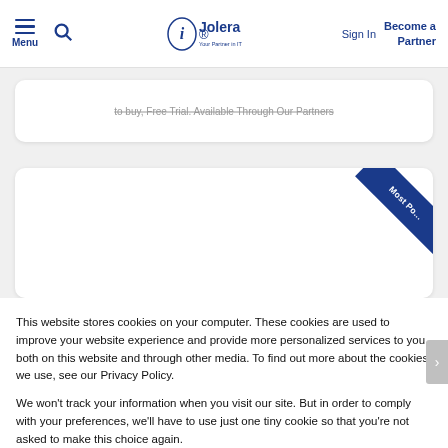[Figure (screenshot): Jolera website header with hamburger menu, search icon, Jolera logo (Your Partner in IT), Sign In link, and Become a Partner link in dark blue]
[Figure (screenshot): Background website content showing two white cards on grey background; second card has a blue diagonal 'Most Popular' ribbon in top-right corner]
This website stores cookies on your computer. These cookies are used to improve your website experience and provide more personalized services to you, both on this website and through other media. To find out more about the cookies we use, see our Privacy Policy.
We won't track your information when you visit our site. But in order to comply with your preferences, we'll have to use just one tiny cookie so that you're not asked to make this choice again.
Cookie Settings
Accept All